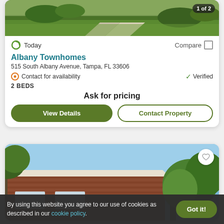[Figure (photo): Exterior photo of Albany Townhomes property showing greenery and pathway, with '1 of 2' badge overlay]
Today
Compare
Albany Townhomes
515 South Albany Avenue, Tampa, FL 33606
Contact for availability
Verified
2 BEDS
Ask for pricing
View Details
Contact Property
[Figure (photo): Exterior photo of a brick apartment building with trees and tropical plants under blue sky, with heart/favorite button overlay]
By using this website you agree to our use of cookies as described in our cookie policy.
Got it!